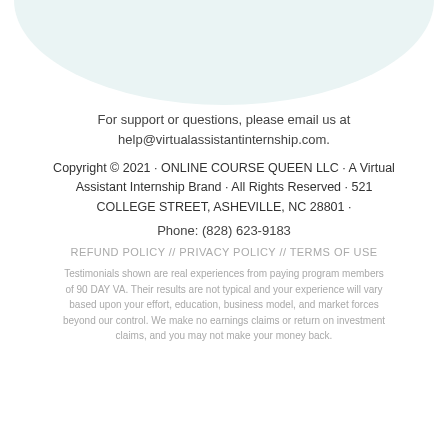[Figure (illustration): Light teal/mint arch shape decorative background at top of page]
For support or questions, please email us at help@virtualassistantinternship.com.
Copyright © 2021 · ONLINE COURSE QUEEN LLC · A Virtual Assistant Internship Brand · All Rights Reserved · 521 COLLEGE STREET, ASHEVILLE, NC 28801 ·
Phone: (828) 623-9183
REFUND POLICY // PRIVACY POLICY // TERMS OF USE
Testimonials shown are real experiences from paying program members of 90 DAY VA. Their results are not typical and your experience will vary based upon your effort, education, business model, and market forces beyond our control. We make no earnings claims or return on investment claims, and you may not make your money back.